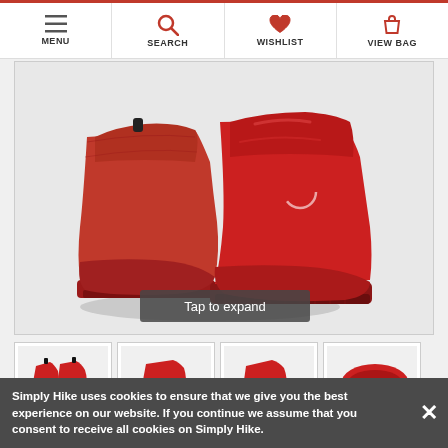MENU | SEARCH | WISHLIST | VIEW BAG
[Figure (photo): Close-up of a pair of red rubber ankle boots (Chelsea-style rain boots) on a light grey background, with a semi-transparent 'Tap to expand' button overlay at the bottom.]
[Figure (photo): Thumbnail strip showing four views of the red ankle boots: front angled view, side view, another side view, and sole view.]
Simply Hike uses cookies to ensure that we give you the best experience on our website. If you continue we assume that you consent to receive all cookies on Simply Hike.